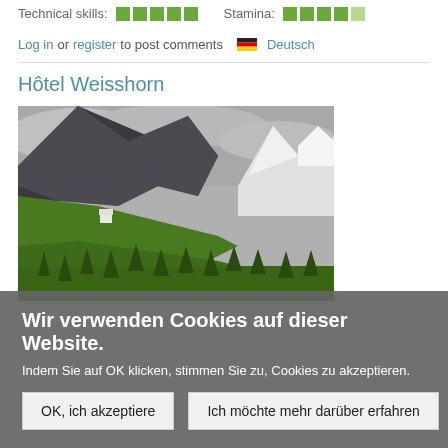Technical skills: ████ Stamina: ████░
Log in or register to post comments 🇩🇪 Deutsch
Hôtel Weisshorn
[Figure (photo): Mountain landscape photograph showing a steep rocky mountain with snow-capped peaks in the background, green pine forests and meadows in the foreground, overcast grey sky]
Wir verwenden Cookies auf dieser Website.
Indem Sie auf OK klicken, stimmen Sie zu, Cookies zu akzeptieren.
OK, ich akzeptiere
Ich möchte mehr darüber erfahren